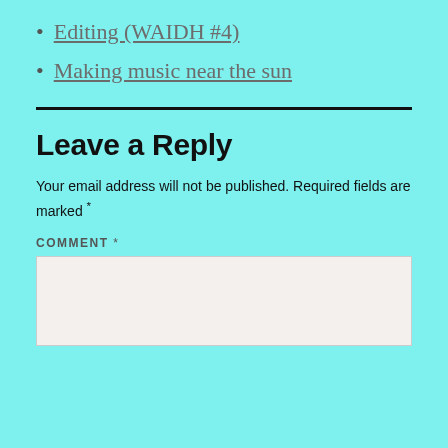Editing (WAIDH #4)
Making music near the sun
Leave a Reply
Your email address will not be published. Required fields are marked *
COMMENT *